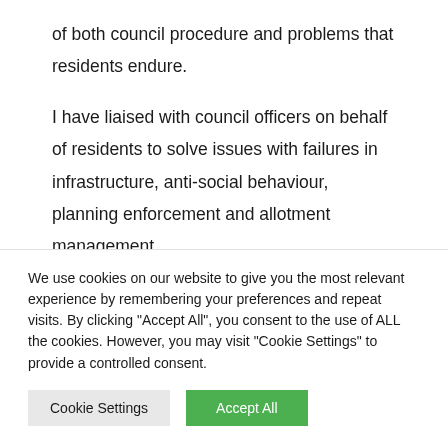of both council procedure and problems that residents endure.
I have liaised with council officers on behalf of residents to solve issues with failures in infrastructure, anti-social behaviour, planning enforcement and allotment management.
I would like to continue fighting for people's rights
We use cookies on our website to give you the most relevant experience by remembering your preferences and repeat visits. By clicking "Accept All", you consent to the use of ALL the cookies. However, you may visit "Cookie Settings" to provide a controlled consent.